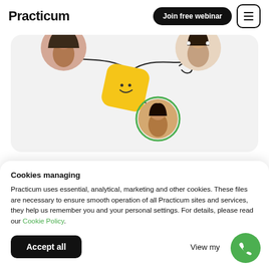Practicum
Join free webinar
[Figure (illustration): Illustration showing connected people icons with a yellow diamond shape in the center with a smiley face, connected by curved lines to circular portraits of smiling people]
Cookies managing
Practicum uses essential, analytical, marketing and other cookies. These files are necessary to ensure smooth operation of all Practicum sites and services, they help us remember you and your personal settings. For details, please read our Cookie Policy.
Accept all
View my